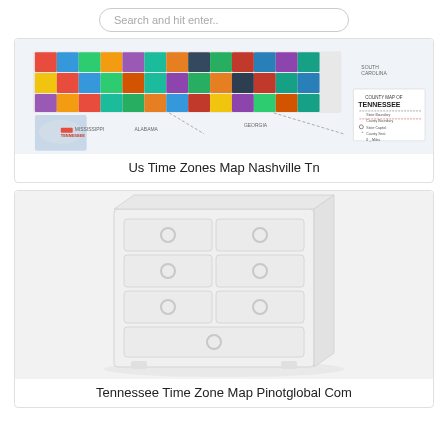Search and hit enter..
[Figure (map): County Map of Tennessee showing colorful county regions, neighboring states Mississippi, Alabama, Georgia, South Carolina labeled. Includes inset US map with Tennessee highlighted. Legend shows State Boundary, County Boundary, State Capital, County Seat.]
Us Time Zones Map Nashville Tn
[Figure (illustration): White dresser chest of drawers illustration with multiple drawers and ring handles, shown in 3D perspective on light gray background.]
Tennessee Time Zone Map Pinotglobal Com